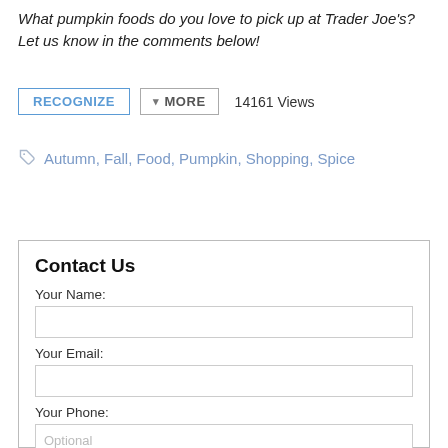What pumpkin foods do you love to pick up at Trader Joe's? Let us know in the comments below!
RECOGNIZE   MORE   14161 Views
Autumn, Fall, Food, Pumpkin, Shopping, Spice
Contact Us
Your Name:
Your Email:
Your Phone:
Your Message: